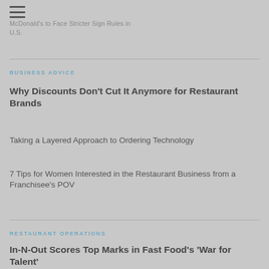McDonald's to Face Stricter Sign Rules in U.S.
BUSINESS ADVICE
Why Discounts Don't Cut It Anymore for Restaurant Brands
Taking a Layered Approach to Ordering Technology
7 Tips for Women Interested in the Restaurant Business from a Franchisee's POV
RESTAURANT OPERATIONS
In-N-Out Scores Top Marks in Fast Food's 'War for Talent'
The New Order of The QSR 50 in the...